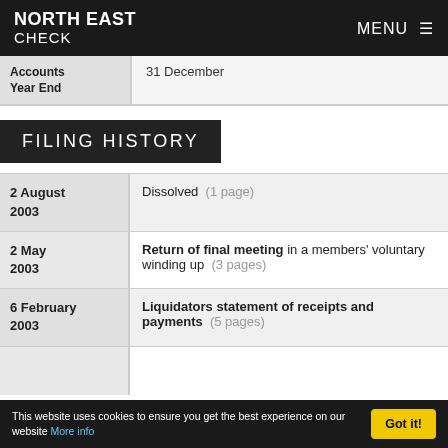NORTH EAST CHECK | MENU
| Accounts Year End | 31 December |
| --- | --- |
FILING HISTORY
| Date | Filing |
| --- | --- |
| 2 August 2003 | Dissolved (1 page) |
| 2 May 2003 | Return of final meeting in a members' voluntary winding up (3 pages) |
| 6 February 2003 | Liquidators statement of receipts and payments (5 pages) |
This website uses cookies to ensure you get the best experience on our website More info | Got it!